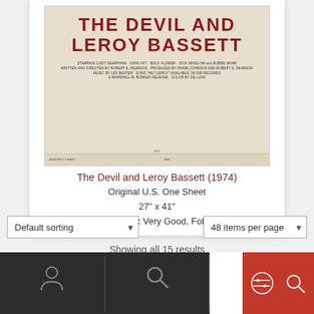[Figure (photo): Movie poster for 'The Devil and Leroy Bassett (1974)', showing title in large dark red letters on cream/beige background with film credits below]
The Devil and Leroy Bassett (1974)
Original U.S. One Sheet
27" x 41"
Condition: Very Good, Folded
Default sorting
48 items per page
Showing all 15 results
[Figure (screenshot): Bottom navigation bar with person icon, search icon, and red filter/search buttons on dark background]